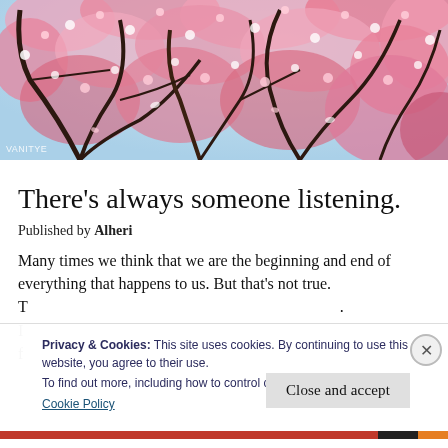[Figure (photo): Cherry blossom tree with pink flowers photographed from below against a bright sky, dark branches visible throughout. Watermark 'VANITYE' in bottom left.]
There’s always someone listening.
Published by Alheri
Many times we think that we are the beginning and end of everything that happens to us. But that’s not true. T[obscured text] I[obscured text] f[obscured text]
Privacy & Cookies: This site uses cookies. By continuing to use this website, you agree to their use.
To find out more, including how to control cookies, see here:
Cookie Policy
Close and accept